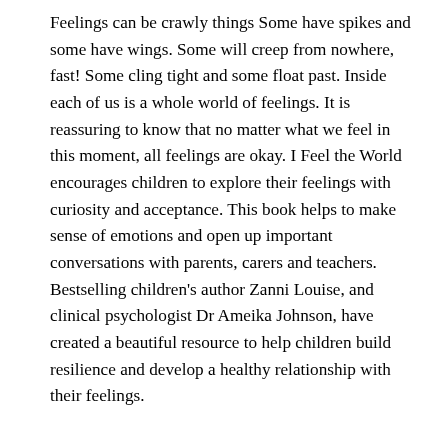Feelings can be crawly things Some have spikes and some have wings. Some will creep from nowhere, fast! Some cling tight and some float past. Inside each of us is a whole world of feelings. It is reassuring to know that no matter what we feel in this moment, all feelings are okay. I Feel the World encourages children to explore their feelings with curiosity and acceptance. This book helps to make sense of emotions and open up important conversations with parents, carers and teachers. Bestselling children's author Zanni Louise, and clinical psychologist Dr Ameika Johnson, have created a beautiful resource to help children build resilience and develop a healthy relationship with their feelings.